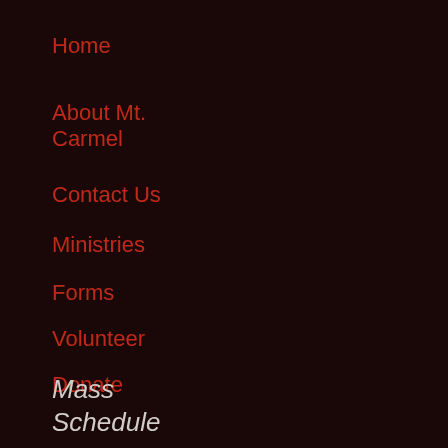Home
About Mt. Carmel
Contact Us
Ministries
Forms
Volunteer
Donate
Space and Hall Rental
Links
Mass Schedule